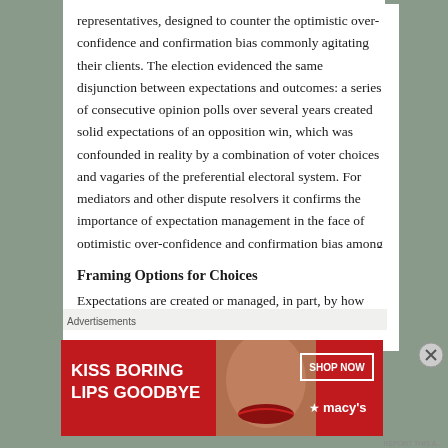representatives, designed to counter the optimistic over-confidence and confirmation bias commonly agitating their clients. The election evidenced the same disjunction between expectations and outcomes: a series of consecutive opinion polls over several years created solid expectations of an opposition win, which was confounded in reality by a combination of voter choices and vagaries of the preferential electoral system. For mediators and other dispute resolvers it confirms the importance of expectation management in the face of optimistic over-confidence and confirmation bias among clients and their advisers.
Framing Options for Choices
Expectations are created or managed, in part, by how options are framed and choices are presented to voters in
Advertisements
[Figure (photo): Advertisement banner for Macy's cosmetics: red background with woman's face showing lips, text 'KISS BORING LIPS GOODBYE' on left, 'SHOP NOW' button and Macy's star logo on right]